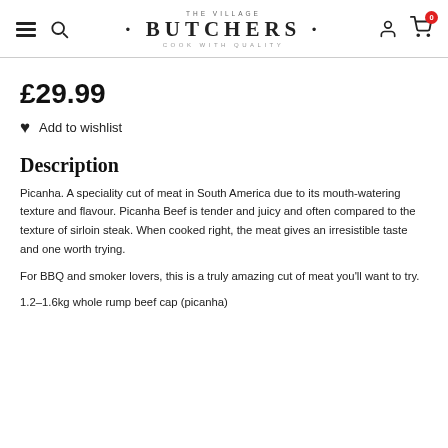THE VILLAGE BUTCHERS · COOK WITH QUALITY
£29.99
♥ Add to wishlist
Description
Picanha. A speciality cut of meat in South America due to its mouth-watering texture and flavour. Picanha Beef is tender and juicy and often compared to the texture of sirloin steak. When cooked right, the meat gives an irresistible taste and one worth trying.
For BBQ and smoker lovers, this is a truly amazing cut of meat you'll want to try.
1.2–1.6kg whole rump beef cap (picanha)